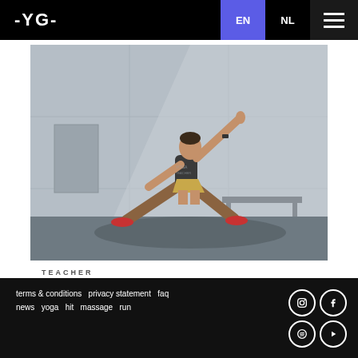-YG-  EN  NL  ☰
[Figure (photo): A man performing a yoga warrior pose outdoors against a grey concrete wall. He wears a dark t-shirt, khaki shorts, and red sneakers, with one arm extended upward and legs spread wide in a lunge.]
TEACHER
terms & conditions  privacy statement  faq  news  yoga  hit  massage  run